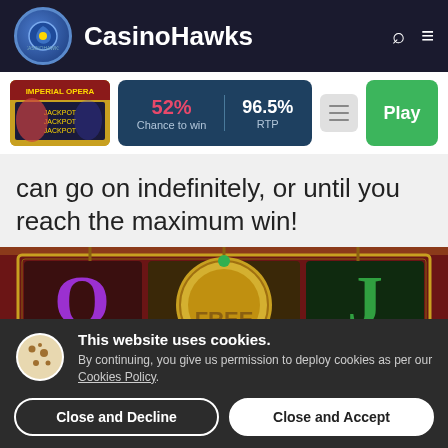CasinoHawks
[Figure (screenshot): Imperial Opera slot game thumbnail with game stats showing 52% Chance to win and 96.5% RTP, with Play button]
can go on indefinitely, or until you reach the maximum win!
[Figure (screenshot): Slot game screen showing Q and J symbols on dark red background with FREE text partially visible]
This website uses cookies. By continuing, you give us permission to deploy cookies as per our Cookies Policy.
Close and Decline
Close and Accept